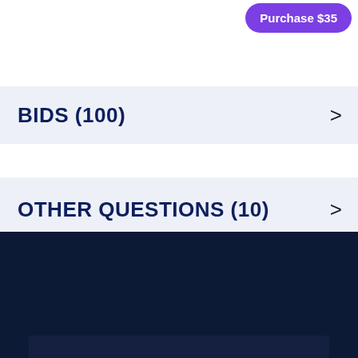Purchase $35
BIDS  (100)
OTHER QUESTIONS  (10)